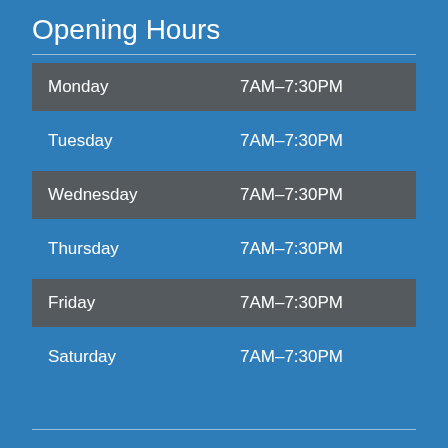Opening Hours
| Day | Hours |
| --- | --- |
| Monday | 7AM–7:30PM |
| Tuesday | 7AM–7:30PM |
| Wednesday | 7AM–7:30PM |
| Thursday | 7AM–7:30PM |
| Friday | 7AM–7:30PM |
| Saturday | 7AM–7:30PM |